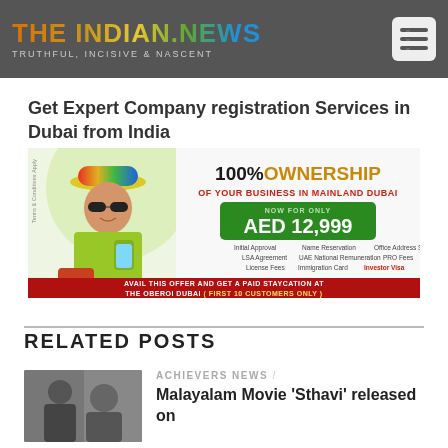THE INDIAN.NEWS — TRUTHFUL, INCISIVE & NASCENT
Get Expert Company registration Services in Dubai from India
[Figure (infographic): Advertisement banner: 100% Ownership of your business in Mainland Dubai for AED 12,999. Features a woman in colorful hat. Services include Initial Approval, Name Reservation, Office Address Solution, LSA Agreement, UAE National Remuneration, PRO Fees, License Fees, Immigration Card, Investor Visa. Footer: Avail this offer and get a paid staycation at The Oberoi Dubai (First 10 customers only).]
RELATED POSTS
ACHIEVERS NEWS /
Malayalam Movie 'Sthavi' released on